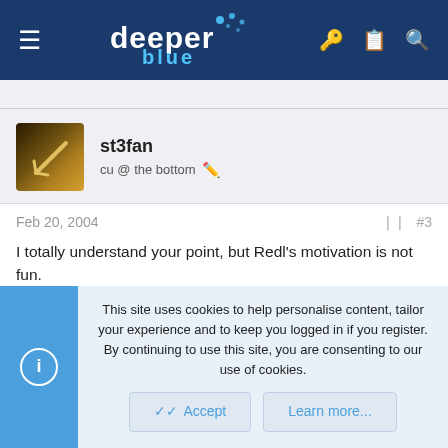deeper blue — navigation header
st3fan
cu @ the bottom
Feb 20, 2004  #3
I totally understand your point, but Redl's motivation is not fun.

However, it's definitely fun to watch him and hear his talks about his records and other great achievements 😀
This site uses cookies to help personalise content, tailor your experience and to keep you logged in if you register.
By continuing to use this site, you are consenting to our use of cookies.
Accept  Learn more...